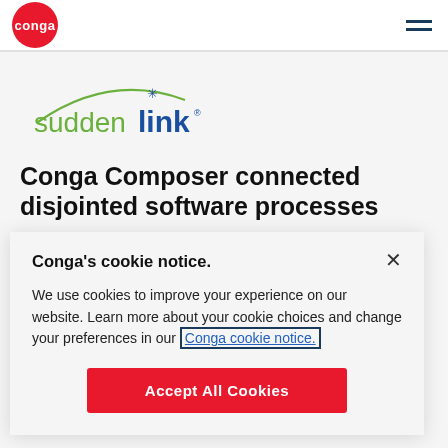conga
[Figure (logo): Suddenlink logo with green arc and blue 'link' wordmark]
Conga Composer connected disjointed software processes
Conga's cookie notice.
We use cookies to improve your experience on our website. Learn more about your cookie choices and change your preferences in our Conga cookie notice.
Accept All Cookies